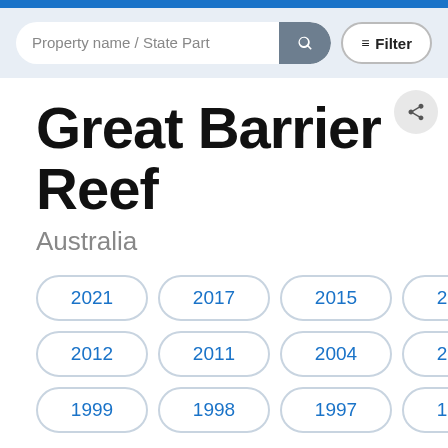Property name / State Part [search bar with filter]
Great Barrier Reef
Australia
2021
2017
2015
2014
2013
2012
2011
2004
2001
2000
1999
1998
1997
1994
1986